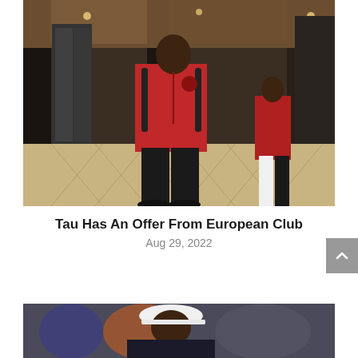[Figure (photo): A man wearing a red Al Ahly tracksuit and backpack walking through a hotel lobby with patterned carpet, other players visible in background]
Tau Has An Offer From European Club
Aug 29, 2022
[Figure (photo): A man in a white cap and dark jacket, appears to be a football coach or official, partially visible at bottom of page]